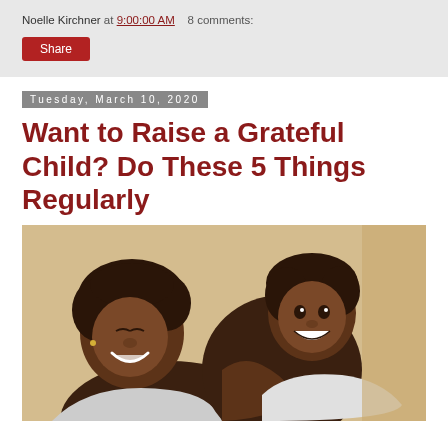Noelle Kirchner at 9:00:00 AM   8 comments:
Share
Tuesday, March 10, 2020
Want to Raise a Grateful Child? Do These 5 Things Regularly
[Figure (photo): A smiling Black woman and a young boy hugging and laughing together, with a warm beige background.]